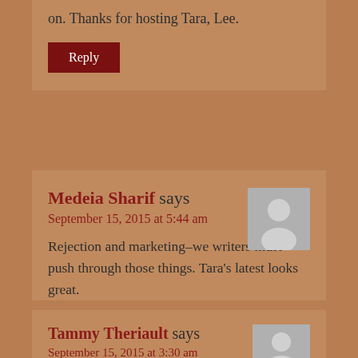on. Thanks for hosting Tara, Lee.
Reply
Medeia Sharif says
September 15, 2015 at 5:44 am
Rejection and marketing–we writers must push through those things. Tara's latest looks great.
Reply
Tammy Theriault says
September 15, 2015 at 3:30 am